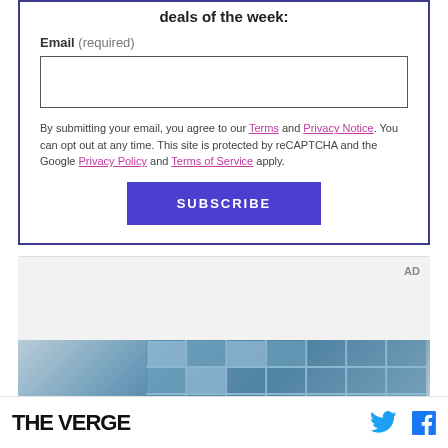deals of the week:
Email (required)
By submitting your email, you agree to our Terms and Privacy Notice. You can opt out at any time. This site is protected by reCAPTCHA and the Google Privacy Policy and Terms of Service apply.
SUBSCRIBE
AD
[Figure (photo): Photo of a person in front of windows/building facade]
THE VERGE